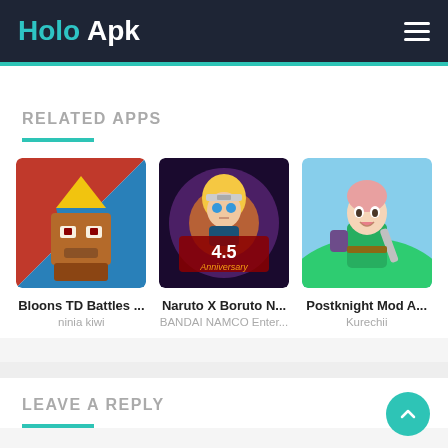Holo Apk
RELATED APPS
[Figure (screenshot): Bloons TD Battles game icon — red and blue split background with animated character]
Bloons TD Battles ...
ninia kiwi
[Figure (screenshot): Naruto X Boruto Ninja Voltage — anime character with 4.5 Anniversary text]
Naruto X Boruto N...
BANDAI NAMCO Enter...
[Figure (screenshot): Postknight Mod Apk — chibi pink-haired girl with sword]
Postknight Mod A...
Kurechii
LEAVE A REPLY